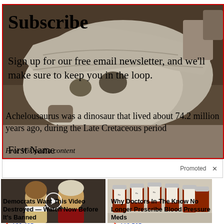[Figure (screenshot): Wikipedia newsletter subscribe overlay on top of a dinosaur skull image (Achelousaurus). Red border around the top section. Shows 'Subscribe' heading, newsletter signup text overlapping with dinosaur article text, 'First Name' input label, and a free Wikipedia content italic note.]
Subscribe
Sign up for our free email newsletter, and we'll make sure to keep you in the loop.
Achelousaurus was a dinosaur that lived about 74.2 million years ago, during the Late Cretaceous period
Free Wikipedia content
First Name
Promoted ×
[Figure (photo): Photo of a man and woman, with a video play button overlay. Appears to be a political figure.]
Democrats Want This Video Destroyed — Watch Now Before It's Banned
🔥 166,485
[Figure (photo): Photo of multiple prescription medicine bottles arranged in a row.]
Why Doctors In The Know No Longer Prescribe Blood Pressure Meds
🔥 110,565